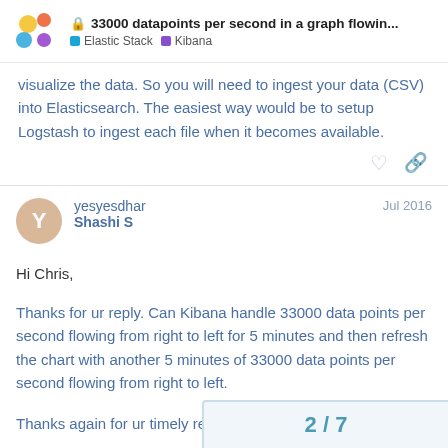33000 datapoints per second in a graph flowin... | Elastic Stack | Kibana
visualize the data. So you will need to ingest your data (CSV) into Elasticsearch. The easiest way would be to setup Logstash to ingest each file when it becomes available.
yesyesdhar Shashi S — Jul 2016
Hi Chris,
Thanks for ur reply. Can Kibana handle 33000 data points per second flowing from right to left for 5 minutes and then refresh the chart with another 5 minutes of 33000 data points per second flowing from right to left.
Thanks again for ur timely response.
2 / 7